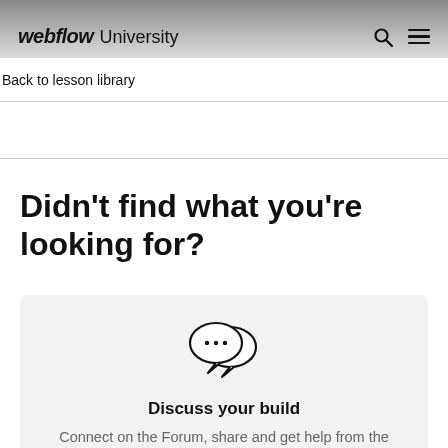webflow University
Back to lesson library
Didn't find what you're looking for?
[Figure (illustration): Two overlapping speech bubble icons with ellipsis (…) inside, indicating a forum or chat.]
Discuss your build
Connect on the Forum, share and get help from the community.